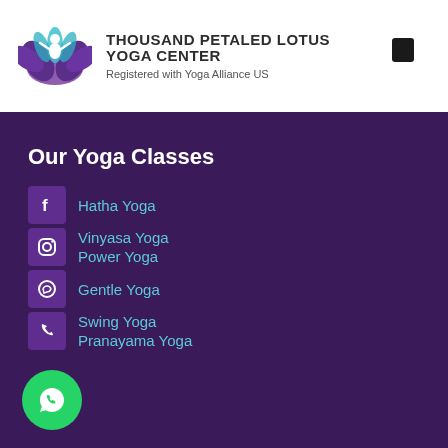[Figure (logo): Thousand Petaled Lotus Yoga Center logo with a lotus flower and meditating figure in purple and teal]
THOUSAND PETALED LOTUS YOGA CENTER
Registered with Yoga Alliance US
Our Yoga Classes
Hatha Yoga
Vinyasa Yoga
Power Yoga
Gentle Yoga
Swing Yoga
Pranayama Yoga